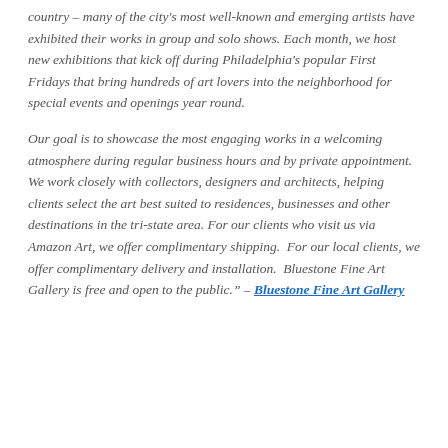country – many of the city's most well-known and emerging artists have exhibited their works in group and solo shows. Each month, we host new exhibitions that kick off during Philadelphia's popular First Fridays that bring hundreds of art lovers into the neighborhood for special events and openings year round.

Our goal is to showcase the most engaging works in a welcoming atmosphere during regular business hours and by private appointment. We work closely with collectors, designers and architects, helping clients select the art best suited to residences, businesses and other destinations in the tri-state area. For our clients who visit us via Amazon Art, we offer complimentary shipping. For our local clients, we offer complimentary delivery and installation. Bluestone Fine Art Gallery is free and open to the public." – Bluestone Fine Art Gallery